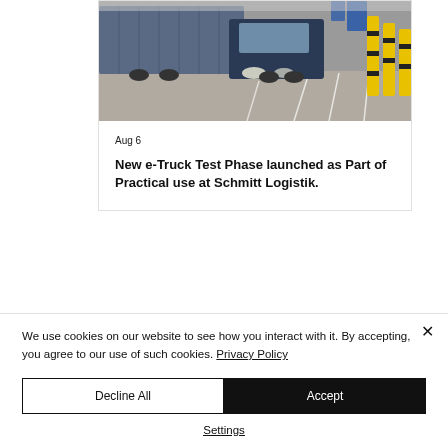[Figure (photo): Photo of a large blue truck/semi-truck parked inside a warehouse or loading dock, with yellow safety bollards visible on the right side.]
Aug 6
New e-Truck Test Phase launched as Part of Practical use at Schmitt Logistik.
We use cookies on our website to see how you interact with it. By accepting, you agree to our use of such cookies. Privacy Policy
Decline All
Accept
Settings